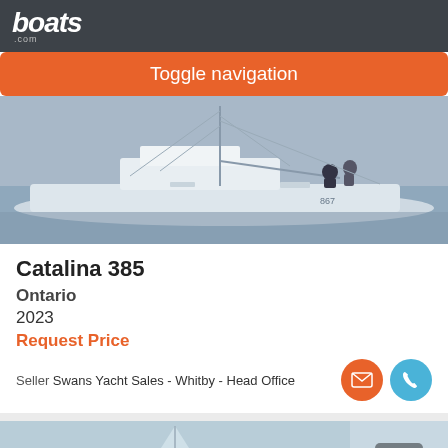boats.com
Toggle navigation
[Figure (photo): Sailboat (Catalina 385) docked at a marina, white hull, mast with rigging, people visible on deck, blue-tinted water background]
Catalina 385
Ontario
2023
Request Price
Seller Swans Yacht Sales - Whitby - Head Office
[Figure (photo): Partial view of another sailboat listing with photo count badge showing 7]
Sort By
Filter Search